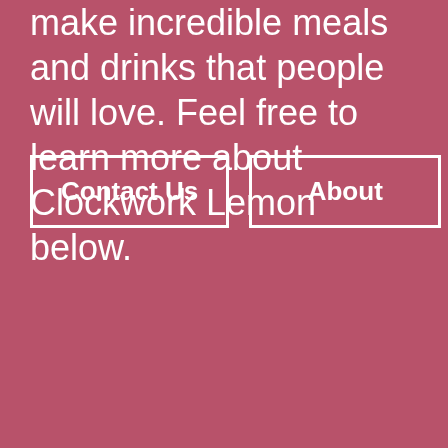make incredible meals and drinks that people will love. Feel free to learn more about Clockwork Lemon below.
Contact Us
About